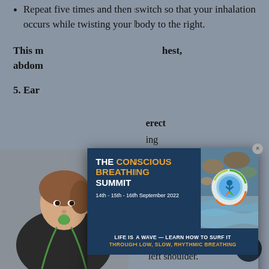Repeat five times and then switch so that your inhalation occurs while twisting your body to the right.
This m... chest, abdom...
5. Ear...
...erect ...ing forward.
As you breathe in lean your head against your left shoulder.
[Figure (other): Woman with breathing device at mouth, wearing green lanyard, dark top]
[Figure (infographic): The Conscious Breathing Summit modal popup overlay. Text: THE CONSCIOUS BREATHING SUMMIT, 14th - 15th - 16th September 2022, LIFE IS A WAVE — LEARN HOW TO SURF IT, THROUGH LOW, SLOW, RHYTHMIC BREATHING. Logo with circular design featuring human figure.]